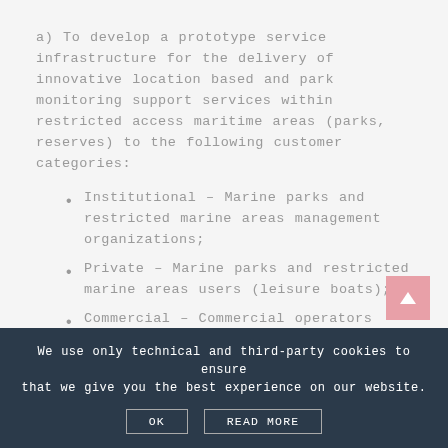a) To develop a prototype service infrastructure for the delivery of innovative location based and park monitoring support services within restricted access maritime areas (parks, reserves) to the following customer categories:
Institutional – Marine parks and restricted marine areas management organizations;
Private – Marine parks and restricted marine areas users (leisure boats);
Commercial – Commercial operators
We use only technical and third-party cookies to ensure that we give you the best experience on our website.